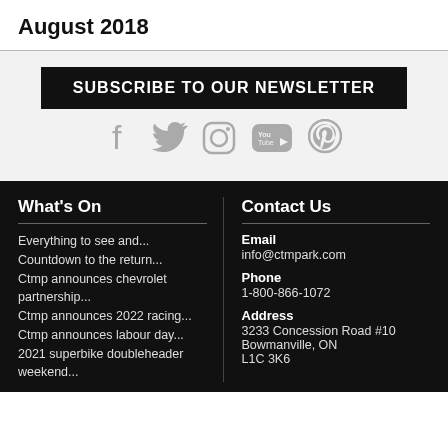August 2018
SUBSCRIBE TO OUR NEWSLETTER
[Figure (infographic): Social media icons: Facebook, Twitter, Instagram, YouTube, Pinterest]
What's On
Everything to see and...
Countdown to the return...
Ctmp announces chevrolet partnership...
Ctmp announces 2022 racing...
Ctmp announces labour day...
2021 superbike doubleheader weekend...
Contact Us
Email
info@ctmpark.com
Phone
1-800-866-1072
Address
3233 Concession Road #10
Bowmanville, ON
L1C 3K6